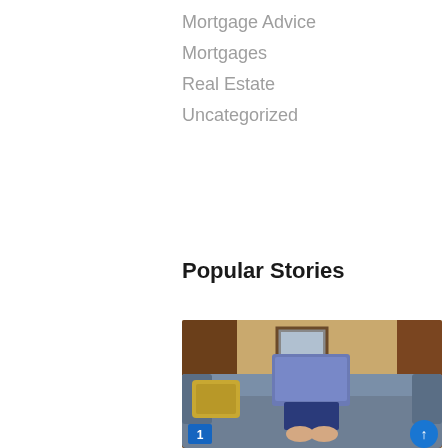Mortgage Advice
Mortgages
Real Estate
Uncategorized
Popular Stories
[Figure (photo): Person lying on a sofa with feet up, holding a laptop open in front of their face, with a decorative pillow and framed picture on the wall in the background. A blue number badge '1' is in the bottom left corner.]